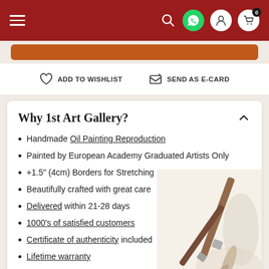[Figure (screenshot): Website navigation bar with dark red background, hamburger menu on left, search/whatsapp/user/cart icons on right]
ADD TO WISHLIST   SEND AS E-CARD
Why 1st Art Gallery?
Handmade Oil Painting Reproduction
Painted by European Academy Graduated Artists Only
+1.5" (4cm) Borders for Stretching
Beautifully crafted with great care
Delivered within 21-28 days
1000's of satisfied customers
Certificate of authenticity included
Lifetime warranty
Free shipping & handling worldwide